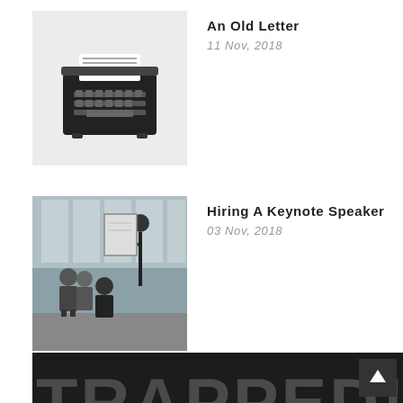[Figure (photo): Thumbnail of a typewriter on white background]
An Old Letter
11 Nov, 2018
[Figure (photo): Thumbnail of people in a meeting room, someone presenting at a board]
Hiring A Keynote Speaker
03 Nov, 2018
[Figure (photo): Dark banner with word TRAPPED! in dark gray, and large red TRAPPED! text below]
[Figure (other): Scroll-to-top button, dark gray square with white up arrow]